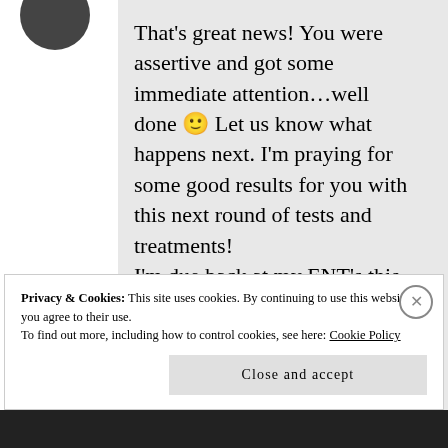[Figure (photo): Partial avatar/profile photo, top-left corner, dark circular image]
That's great news! You were assertive and got some immediate attention...well done 🙂 Let us know what happens next. I'm praying for some good results for you with this next round of tests and treatments! I'm due back at my ENT's this Friday. Not sure what to expect when I tell him that
Privacy & Cookies: This site uses cookies. By continuing to use this website, you agree to their use.
To find out more, including how to control cookies, see here: Cookie Policy
Close and accept